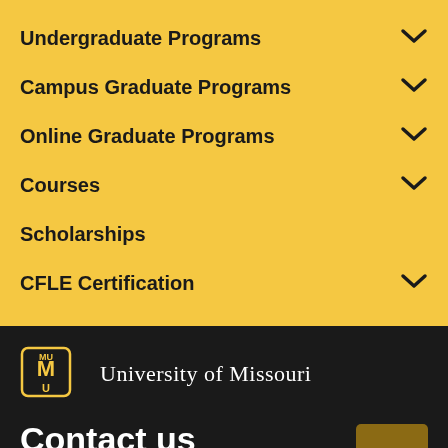Undergraduate Programs
Campus Graduate Programs
Online Graduate Programs
Courses
Scholarships
CFLE Certification
[Figure (logo): University of Missouri Mizzou logo with tiger head in shield]
University of Missouri
Contact us
Footer navigation and contact information